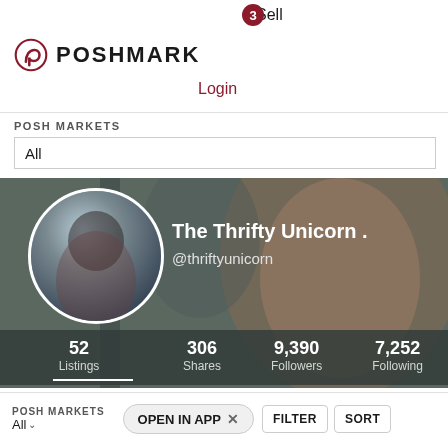[Figure (logo): Poshmark logo with interlocked P icon and POSHMARK wordmark]
Sell
Login
POSH MARKETS
All
[Figure (photo): Poshmark user profile banner with circular profile photo of a woman with dark hair, background shows blurred outdoor scene. Profile name: The Thrifty Unicorn . Handle: @thriftyunicorn. Stats: 52 Listings, 306 Shares, 9,390 Followers, 7,252 Following]
POSH MARKETS
All
OPEN IN APP
FILTER
SORT